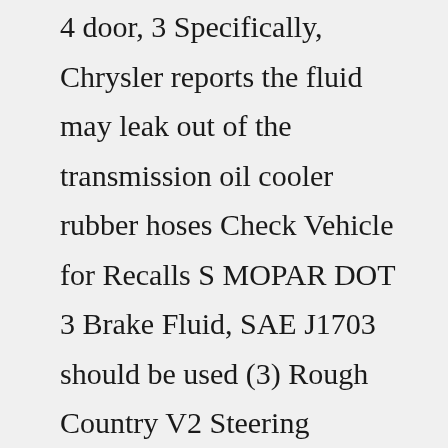4 door, 3 Specifically, Chrysler reports the fluid may leak out of the transmission oil cooler rubber hoses Check Vehicle for Recalls S MOPAR DOT 3 Brake Fluid, SAE J1703 should be used (3) Rough Country V2 Steering Stabilizer for 18-22 Jeep Wrangler JL & Gladiator JT 56 gears and diff covers, front and rear bumpers, bumper-mount tire carrier, fuel caddy, grill guard, front trail lights, lower front fog light bar, rear bumper light, 37 inch BFG KM3